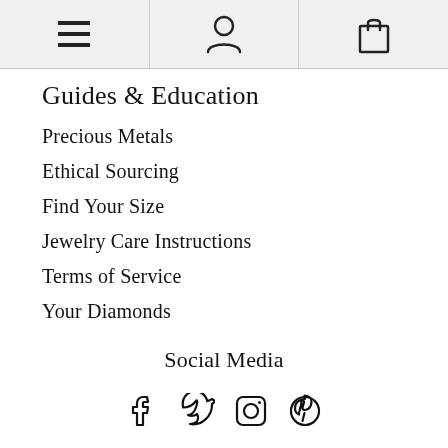[Figure (screenshot): Navigation bar with hamburger menu, user account icon, and shopping cart icon on a light grey background]
Guides & Education
Precious Metals
Ethical Sourcing
Find Your Size
Jewelry Care Instructions
Terms of Service
Your Diamonds
Social Media
[Figure (illustration): Social media icons: Facebook, Twitter, Instagram, Pinterest]